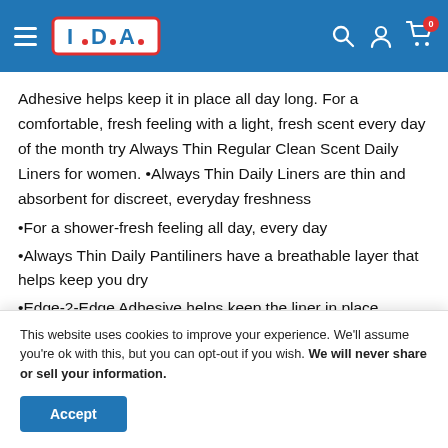I·D·A· pharmacy header with hamburger menu, logo, search, account, and cart icons
Adhesive helps keep it in place all day long. For a comfortable, fresh feeling with a light, fresh scent every day of the month try Always Thin Regular Clean Scent Daily Liners for women. •Always Thin Daily Liners are thin and absorbent for discreet, everyday freshness
•For a shower-fresh feeling all day, every day
•Always Thin Daily Pantiliners have a breathable layer that helps keep you dry
•Edge-2-Edge Adhesive helps keep the liner in place
This website uses cookies to improve your experience. We'll assume you're ok with this, but you can opt-out if you wish. We will never share or sell your information.